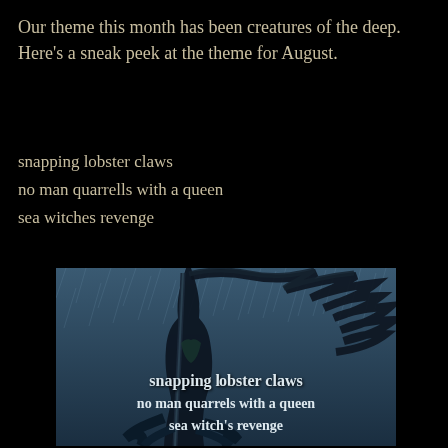Our theme this month has been creatures of the deep. Here's a sneak peek at the theme for August.
snapping lobster claws
no man quarrells with a queen
sea witches revenge
[Figure (illustration): Dark fantasy illustration of a sea witch figure with long wild hair blowing in the wind, holding a staff/trident, surrounded by tentacles, in stormy rain. Overlaid text reads: snapping lobster claws / no man quarrels with a queen / sea witch's revenge]